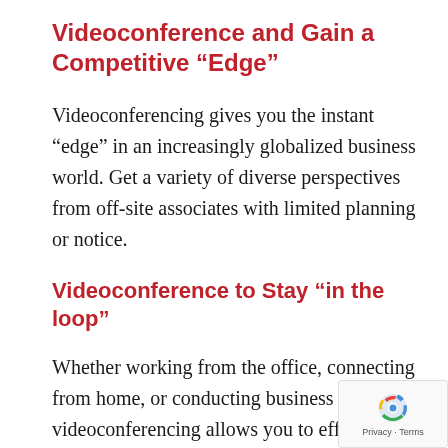Videoconference and Gain a Competitive “Edge”
Videoconferencing gives you the instant “edge” in an increasingly globalized business world. Get a variety of diverse perspectives from off-site associates with limited planning or notice.
Videoconference to Stay “in the loop”
Whether working from the office, connecting from home, or conducting business off-site, videoconferencing allows you to effortlessly manage your business priorities, while remaining an